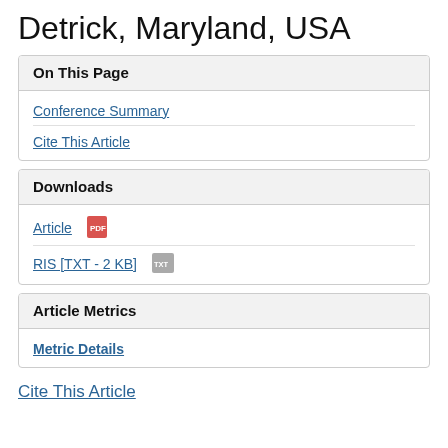Detrick, Maryland, USA
On This Page
Conference Summary
Cite This Article
Downloads
Article
RIS [TXT - 2 KB]
Article Metrics
Metric Details
Cite This Article